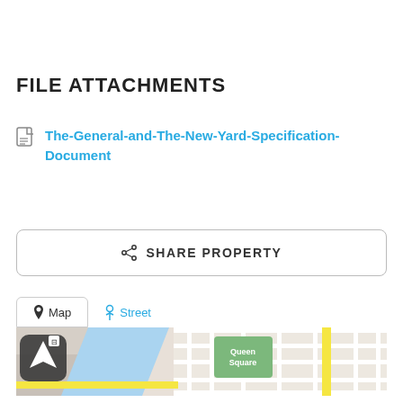FILE ATTACHMENTS
The-General-and-The-New-Yard-Specification-Document
SHARE PROPERTY
[Figure (map): Street map showing Queen Square area with Map and Street view tabs]